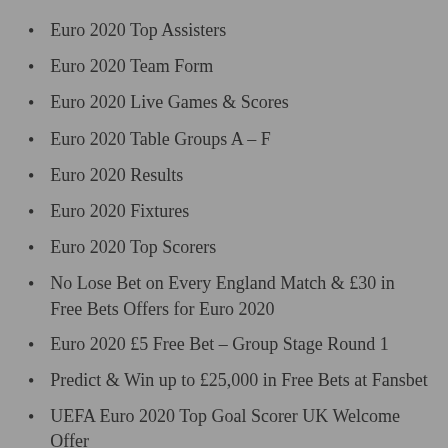Euro 2020 Top Assisters
Euro 2020 Team Form
Euro 2020 Live Games & Scores
Euro 2020 Table Groups A – F
Euro 2020 Results
Euro 2020 Fixtures
Euro 2020 Top Scorers
No Lose Bet on Every England Match & £30 in Free Bets Offers for Euro 2020
Euro 2020 £5 Free Bet – Group Stage Round 1
Predict & Win up to £25,000 in Free Bets at Fansbet
UEFA Euro 2020 Top Goal Scorer UK Welcome Offer